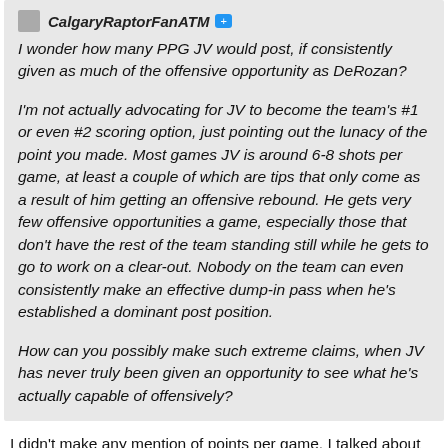I wonder how many PPG JV would post, if consistently given as much of the offensive opportunity as DeRozan?

I'm not actually advocating for JV to become the team's #1 or even #2 scoring option, just pointing out the lunacy of the point you made. Most games JV is around 6-8 shots per game, at least a couple of which are tips that only come as a result of him getting an offensive rebound. He gets very few offensive opportunities a game, especially those that don't have the rest of the team standing still while he gets to go to work on a clear-out. Nobody on the team can even consistently make an effective dump-in pass when he's established a dominant post position.

How can you possibly make such extreme claims, when JV has never truly been given an opportunity to see what he's actually capable of offensively?
I didn't make any mention of points per game. I talked about play style and his improved effectiveness in the